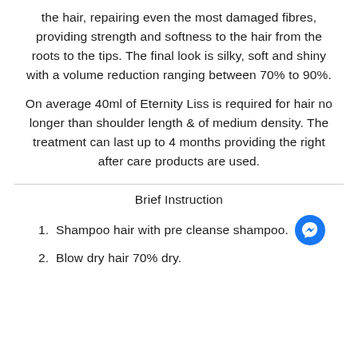the hair, repairing even the most damaged fibres, providing strength and softness to the hair from the roots to the tips. The final look is silky, soft and shiny with a volume reduction ranging between 70% to 90%.
On average 40ml of Eternity Liss is required for hair no longer than shoulder length & of medium density. The treatment can last up to 4 months providing the right after care products are used.
Brief Instruction
Shampoo hair with pre cleanse shampoo.
Blow dry hair 70% dry.